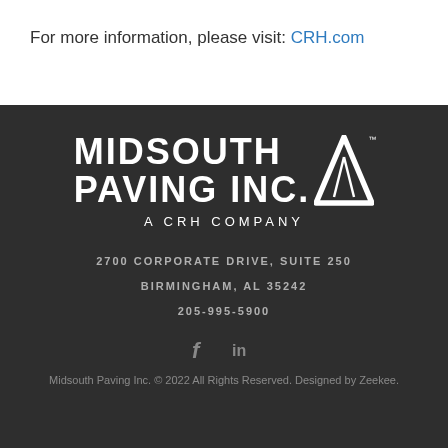For more information, please visit: CRH.com
[Figure (logo): Midsouth Paving Inc. logo with road/triangle icon and tagline 'A CRH COMPANY' on dark background]
2700 CORPORATE DRIVE, SUITE 250
BIRMINGHAM, AL 35242
205-995-5900
[Figure (other): Facebook and LinkedIn social media icons]
Midsouth Paving Inc. © 2022 All Rights Reserved. Designed by Zeekee.